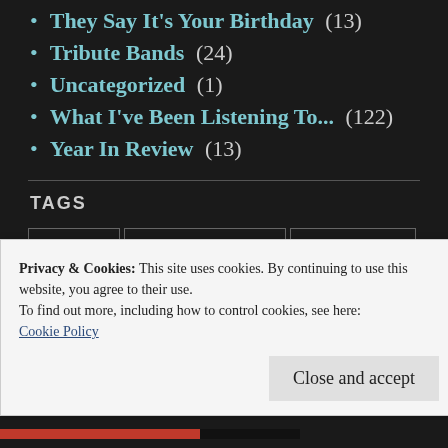They Say It's Your Birthday (13)
Tribute Bands (24)
Uncategorized (1)
What I've Been Listening To... (122)
Year In Review (13)
TAGS
AC/DC   Alternative Rock   Americana
Privacy & Cookies: This site uses cookies. By continuing to use this website, you agree to their use.
To find out more, including how to control cookies, see here:
Cookie Policy
Close and accept